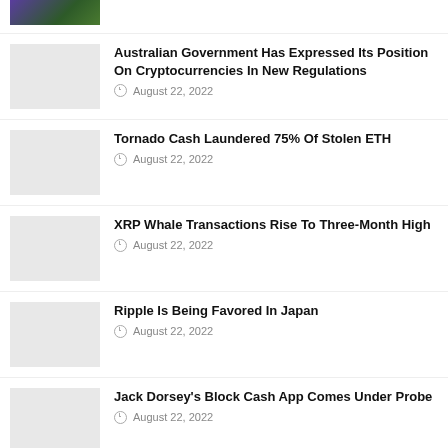[Figure (photo): Thumbnail image with purple and green colors at top of list]
Australian Government Has Expressed Its Position On Cryptocurrencies In New Regulations
August 22, 2022
Tornado Cash Laundered 75% Of Stolen ETH
August 22, 2022
XRP Whale Transactions Rise To Three-Month High
August 22, 2022
Ripple Is Being Favored In Japan
August 22, 2022
Jack Dorsey's Block Cash App Comes Under Probe
August 22, 2022
Korea Taxes Crypto Gifts, Airdrops With 10-50%